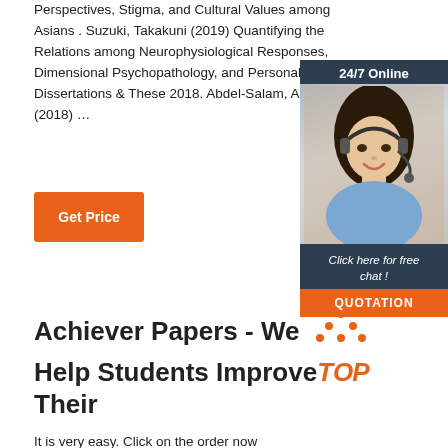Perspectives, Stigma, and Cultural Values among Asians . Suzuki, Takakuni (2019) Quantifying the Relations among Neurophysiological Responses, Dimensional Psychopathology, and Personality Traits . Dissertations & Theses 2018. Abdel-Salam, Ahmed M. (2018) …
[Figure (infographic): Customer service advertisement banner with 24/7 Online label, photo of woman with headset, 'Click here for free chat!' text, and orange QUOTATION button. Dark navy background.]
Get Price
Achiever Papers - We Help Students Improve Their
It is very easy. Click on the order now